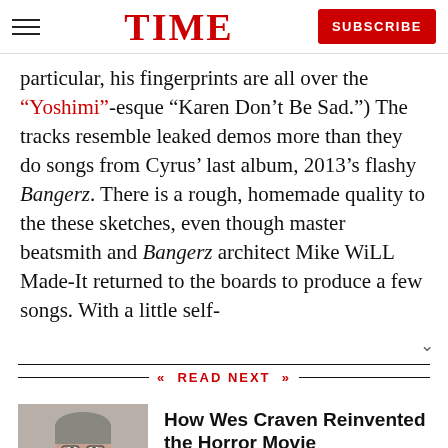TIME
particular, his fingerprints are all over the “Yoshimi”-esque “Karen Don’t Be Sad.”) The tracks resemble leaked demos more than they do songs from Cyrus’ last album, 2013’s flashy Bangerz. There is a rough, homemade quality to the these sketches, even though master beatsmith and Bangerz architect Mike WiLL Made-It returned to the boards to produce a few songs. With a little self-
READ NEXT
[Figure (photo): Photo of Wes Craven, an elderly man in a dark shirt, gray background.]
How Wes Craven Reinvented the Horror Movie